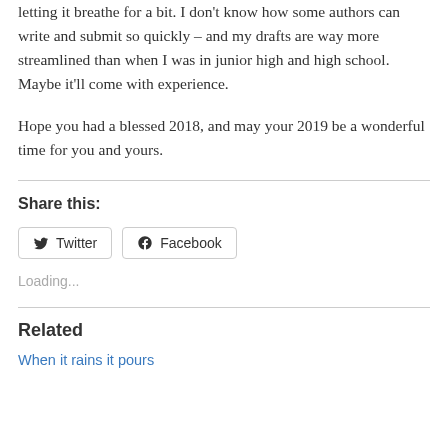letting it breathe for a bit. I don't know how some authors can write and submit so quickly – and my drafts are way more streamlined than when I was in junior high and high school. Maybe it'll come with experience.
Hope you had a blessed 2018, and may your 2019 be a wonderful time for you and yours.
Share this:
Loading...
Related
When it rains it pours